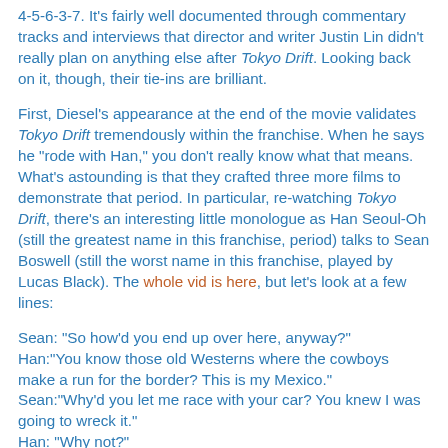4-5-6-3-7. It's fairly well documented through commentary tracks and interviews that director and writer Justin Lin didn't really plan on anything else after Tokyo Drift. Looking back on it, though, their tie-ins are brilliant.
First, Diesel's appearance at the end of the movie validates Tokyo Drift tremendously within the franchise. When he says he "rode with Han," you don't really know what that means. What's astounding is that they crafted three more films to demonstrate that period. In particular, re-watching Tokyo Drift, there's an interesting little monologue as Han Seoul-Oh (still the greatest name in this franchise, period) talks to Sean Boswell (still the worst name in this franchise, played by Lucas Black). The whole vid is here, but let's look at a few lines:
Sean: "So how'd you end up over here, anyway?"
Han:"You know those old Westerns where the cowboys make a run for the border? This is my Mexico."
Sean:"Why'd you let me race with your car? You knew I was going to wreck it."
Han: "Why not?"